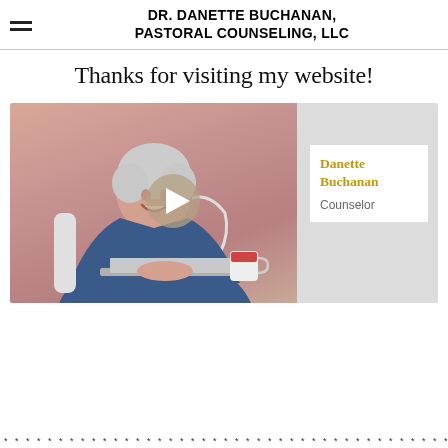DR. DANETTE BUCHANAN, PASTORAL COUNSELING, LLC
Thanks for visiting my website!
[Figure (photo): Video thumbnail showing a smiling older woman with short white hair wearing a denim jacket, sitting at a laptop with a red mug. A play button is overlaid in the center. On the right side a white card reads 'Danette Buchanan' in gold and 'Counselor' in grey.]
* * * * * * * * * * * * * * * * * * * * * * * * * * * * * * * * * * * * * * * * * * * * * * *